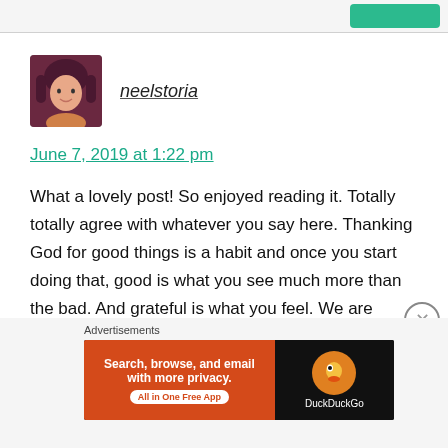[Figure (photo): User avatar photo of neelstoria, a woman with dark hair]
neelstoria
June 7, 2019 at 1:22 pm
What a lovely post! So enjoyed reading it. Totally totally agree with whatever you say here. Thanking God for good things is a habit and once you start doing that, good is what you see much more than the bad. And grateful is what you feel. We are definitely part of something much bigger than ourselves and have our own role to play in that. We are where we are supposed to be, everything is just as it ought
Advertisements
[Figure (screenshot): DuckDuckGo advertisement banner: Search, browse, and email with more privacy. All in One Free App.]